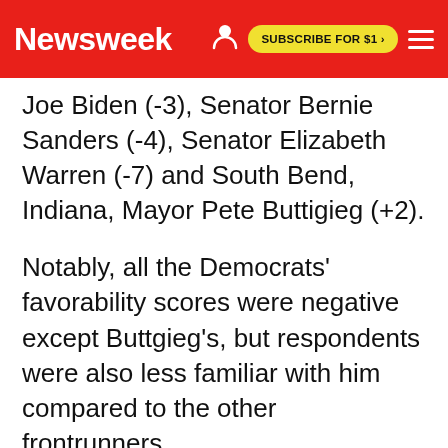Newsweek
Joe Biden (-3), Senator Bernie Sanders (-4), Senator Elizabeth Warren (-7) and South Bend, Indiana, Mayor Pete Buttigieg (+2).
Notably, all the Democrats' favorability scores were negative except Buttgieg's, but respondents were also less familiar with him compared to the other frontrunners.